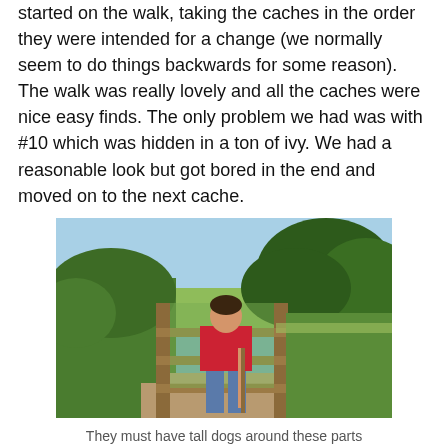started on the walk, taking the caches in the order they were intended for a change (we normally seem to do things backwards for some reason). The walk was really lovely and all the caches were nice easy finds. The only problem we had was with #10 which was hidden in a ton of ivy. We had a reasonable look but got bored in the end and moved on to the next cache.
[Figure (photo): A person in a red shirt standing at a wooden fence gate on a countryside path, surrounded by green hedges and trees under a blue sky, giving a thumbs up and holding a walking stick.]
They must have tall dogs around these parts